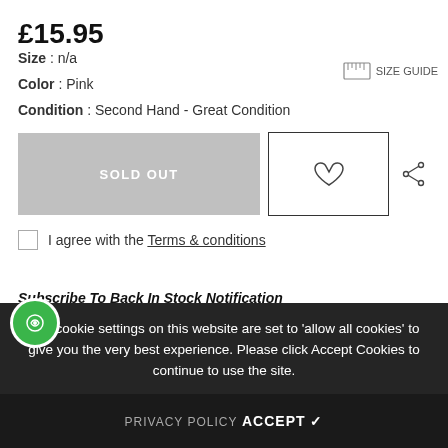£15.95
Size : n/a
Color : Pink
Condition : Second Hand - Great Condition
SOLD OUT
I agree with the Terms & conditions
Subscribe To Back In Stock Notification
The cookie settings on this website are set to 'allow all cookies' to give you the very best experience. Please click Accept Cookies to continue to use the site.
PRIVACY POLICY   ACCEPT ✓
SUBSCRIBE